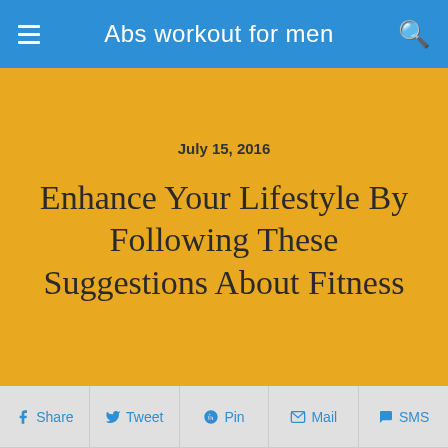Abs workout for men
July 15, 2016
Enhance Your Lifestyle By Following These Suggestions About Fitness
Share  Tweet  Pin  Mail  SMS